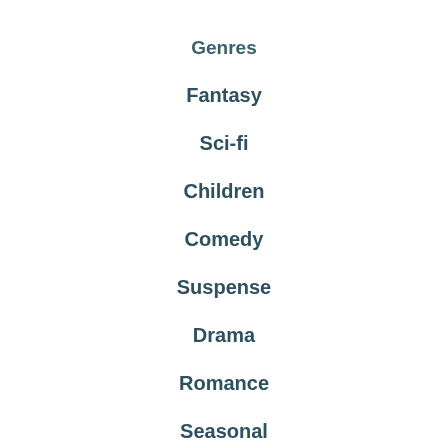Genres
Fantasy
Sci-fi
Children
Comedy
Suspense
Drama
Romance
Seasonal
More
Authors
Illustrators